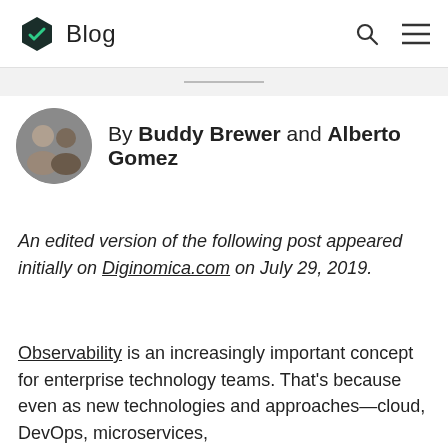Blog
By Buddy Brewer and Alberto Gomez
An edited version of the following post appeared initially on Diginomica.com on July 29, 2019.
Observability is an increasingly important concept for enterprise technology teams. That's because even as new technologies and approaches—cloud, DevOps, microservices,